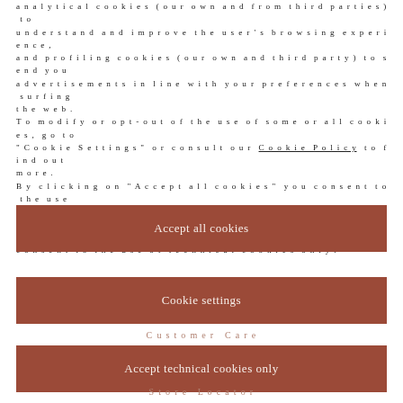analytical cookies (our own and from third parties) to understand and improve the user's browsing experience, and profiling cookies (our own and third party) to send you advertisements in line with your preferences when surfing the web.
To modify or opt-out of the use of some or all cookies, go to "Cookie Settings" or consult our Cookie Policy to find out more.
By clicking on "Accept all cookies" you consent to the use of these cookies.
By clicking "Accept technical cookies only", you give your consent to the use of technical cookies only.
[Figure (other): Button: Accept all cookies — dark terracotta/brown background with white text]
[Figure (other): Button: Cookie settings — dark terracotta/brown background with white text]
Customer Care
[Figure (other): Button: Accept technical cookies only — dark terracotta/brown background with white text]
Store Locator